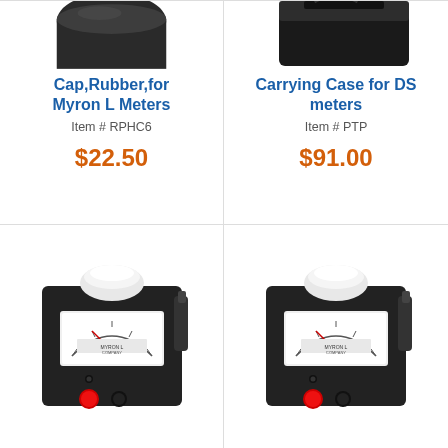[Figure (photo): Partial top view of a rubber cap product for Myron L Meters, dark background, cropped at top]
Cap,Rubber,for Myron L Meters
Item # RPHC6
$22.50
[Figure (photo): Partial top view of a carrying case for DS meters, dark background, cropped at top]
Carrying Case for DS meters
Item # PTP
$91.00
[Figure (photo): Myron L Company handheld conductivity/TDS meter, black body with white bowl sensor on top, analog gauge face, red button at bottom]
[Figure (photo): Myron L Company handheld conductivity/TDS meter, black body with white bowl sensor on top, analog gauge face, red button at bottom]